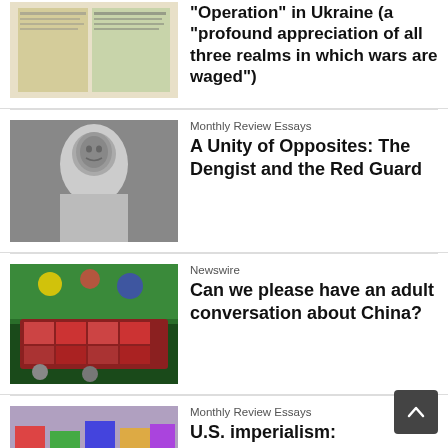[Figure (photo): Newspaper/book cover thumbnail]
"Operation" in Ukraine (a "profound appreciation of all three realms in which wars are waged")
[Figure (photo): Black and white portrait photo of Mao Zedong]
Monthly Review Essays
A Unity of Opposites: The Dengist and the Red Guard
[Figure (photo): Colorful painting or mural photo]
Newswire
Can we please have an adult conversation about China?
[Figure (photo): Protest photo with people holding signs]
Monthly Review Essays
U.S. imperialism: Reflections from a Ukrainian mirror
[Figure (photo): Group photo outdoors]
Newswire
Call for solidarity after FBI raids African People's Socialist Party and Uhuru movem